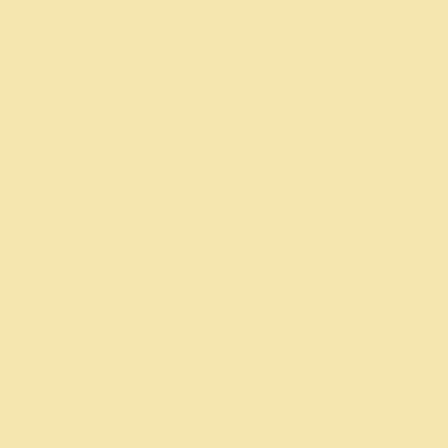encouraged to c foundation@catt
Former members County establish that promote me
Since the fund w $8,000 in grants wellness of Catta
Donations can b at CRCF, 301 No cattfoundation.o
The Cattaraugus